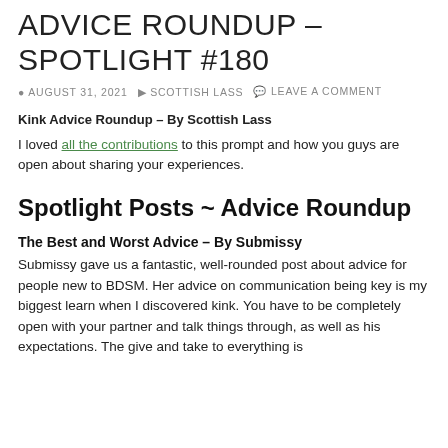ADVICE ROUNDUP – SPOTLIGHT #180
AUGUST 31, 2021   SCOTTISH LASS   LEAVE A COMMENT
Kink Advice Roundup – By Scottish Lass
I loved all the contributions to this prompt and how you guys are open about sharing your experiences.
Spotlight Posts ~ Advice Roundup
The Best and Worst Advice – By Submissy
Submissy gave us a fantastic, well-rounded post about advice for people new to BDSM. Her advice on communication being key is my biggest learn when I discovered kink. You have to be completely open with your partner and talk things through, as well as his expectations. The give and take to everything is